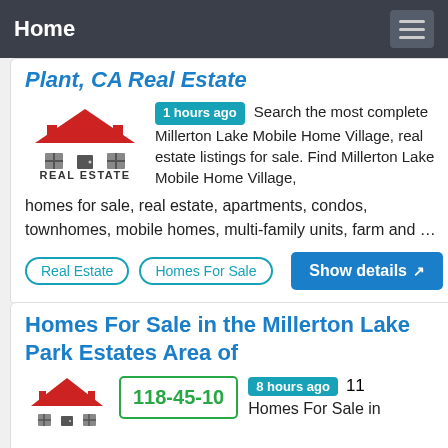Home
Plant, CA Real Estate
1 hours ago  Search the most complete Millerton Lake Mobile Home Village, real estate listings for sale. Find Millerton Lake Mobile Home Village, homes for sale, real estate, apartments, condos, townhomes, mobile homes, multi-family units, farm and …
Real Estate
Homes For Sale
Show details
Homes For Sale in the Millerton Lake Park Estates Area of
118-45-10  8 hours ago  11 Homes For Sale in